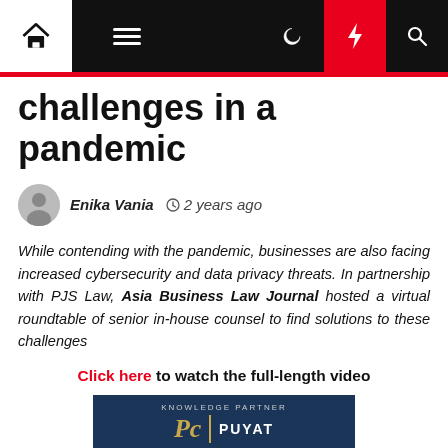Navigation bar with home, menu, moon, lightning, and search icons
challenges in a pandemic
Enika Vania  2 years ago
While contending with the pandemic, businesses are also facing increased cybersecurity and data privacy threats. In partnership with PJS Law, Asia Business Law Journal hosted a virtual roundtable of senior in-house counsel to find solutions to these challenges
Click here to watch the full-length video
[Figure (logo): Knowledge Partner banner with Puyat law firm logo on dark blue background]